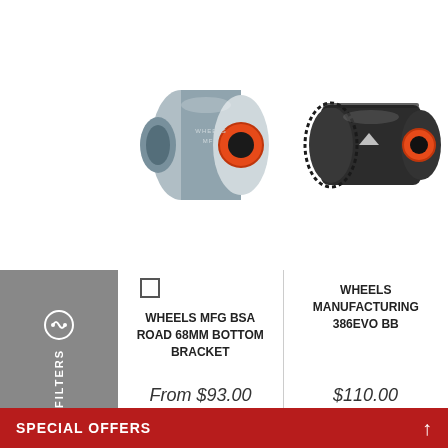[Figure (photo): Two bicycle bottom bracket components. Left: Wheels MFG BSA Road 68mm Bottom Bracket (silver/metal with orange seal ring). Right: Wheels Manufacturing 386EVO BB (black cylindrical with orange seal ring).]
WHEELS MFG BSA ROAD 68MM BOTTOM BRACKET
WHEELS MANUFACTURING 386EVO BB
From $93.00
$110.00
SPECIAL OFFERS